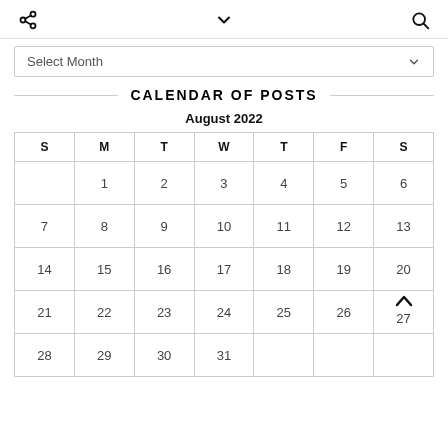Share | chevron | Search
Select Month
CALENDAR OF POSTS
August 2022
| S | M | T | W | T | F | S |
| --- | --- | --- | --- | --- | --- | --- |
|  | 1 | 2 | 3 | 4 | 5 | 6 |
| 7 | 8 | 9 | 10 | 11 | 12 | 13 |
| 14 | 15 | 16 | 17 | 18 | 19 | 20 |
| 21 | 22 | 23 | 24 | 25 | 26 | 27 |
| 28 | 29 | 30 | 31 |  |  |  |